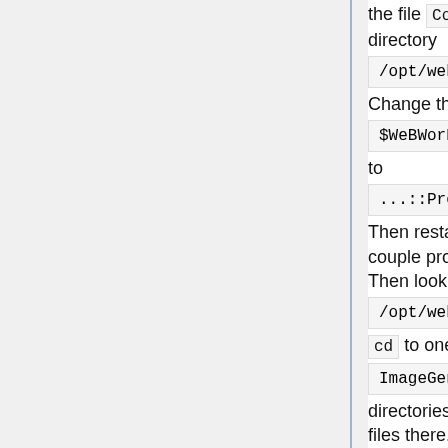the file Constants.pm in the directory
/opt/webwork/webwork2/lib/WeB
Change the line
$WeBWorK::PG::ImageGenerator:
to
...::PreserveTempFiles = 1; .
Then restart Apache and view the first couple problems or some new ones. Then look in the directory
/opt/webwork/webwork2/tmp/ .
cd to one of the
ImageGenerator.../tmp/
directories and look at the error and log files there. When you fix the problem remember to edit
...::PreserveTempFiles = 1;
back to 0 and restart Apache or you will be saving a lot of unnecessary files. Another useful trick is to try downloading